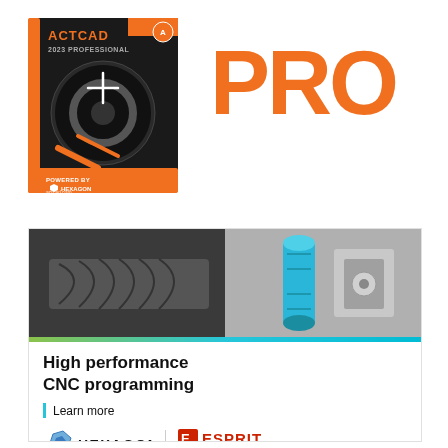[Figure (illustration): ActCAD 2023 Professional software box with dark background, orange accents, and hexagon/gear imagery, labeled 'POWERED BY HEXAGON' at bottom]
PRO
[Figure (infographic): Advertisement banner for Hexagon ESPRIT CNC programming software. Top half shows a CNC machining photo with metallic drill bit and blue rendered CAM toolpath component. Below a teal/green stripe bar: white background with bold text 'High performance CNC programming', a teal bar link reading 'Learn more', and logos for Hexagon and ESPRIT with tagline 'The Right Choice'.]